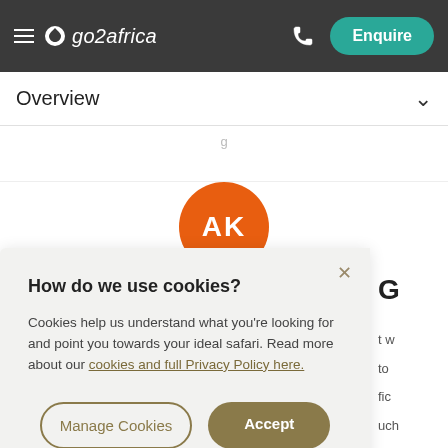go2africa — Enquire
Overview
[Figure (illustration): Orange circle with white initials AK — user avatar]
How do we use cookies?
Cookies help us understand what you're looking for and point you towards your ideal safari. Read more about our cookies and full Privacy Policy here.
Manage Cookies   Accept